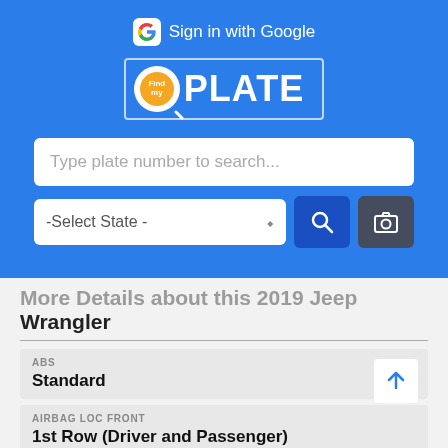[Figure (screenshot): FindPlate app screenshot showing Google sign-in button, FindPlate logo, a plate number search input, state selector dropdown, search and camera buttons, and vehicle details for a 2019 Jeep Wrangler including ABS: Standard, Airbag Loc Front: 1st Row (Driver and Passenger), and partial Airbag Loc Side label.]